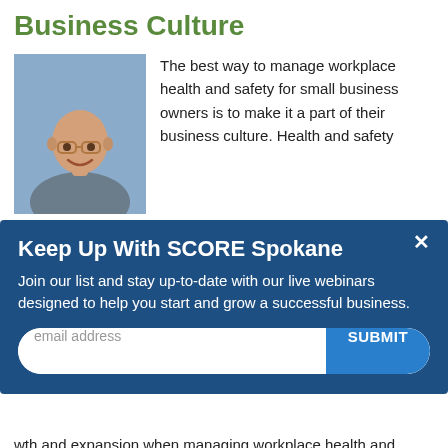Business Culture
[Figure (photo): Headshot of a bald smiling man in a grey suit jacket, outdoors background]
The best way to manage workplace health and safety for small business owners is to make it a part of their business culture. Health and safety should be an important priority to ... and expansion when managing workplace health and safety.
[Figure (screenshot): Modal popup overlay with dark blue background titled 'Keep Up With SCORE Spokane' with email signup form and SUBMIT button]
Ian Kelly, NuLeaf Naturals